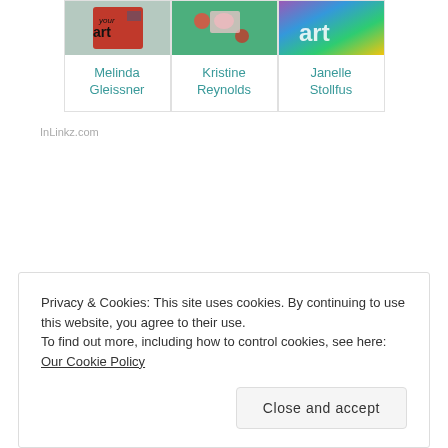[Figure (photo): Three art cards in a row: Melinda Gleissner, Kristine Reynolds, Janelle Stollfus with colorful artwork thumbnails and teal names below]
InLinkz.com
Privacy & Cookies: This site uses cookies. By continuing to use this website, you agree to their use.
To find out more, including how to control cookies, see here: Our Cookie Policy
Close and accept